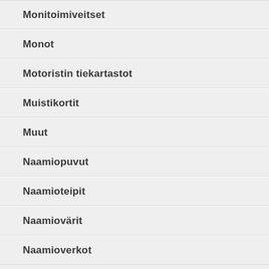Monitoimiveitset
Monot
Motoristin tiekartastot
Muistikortit
Muut
Naamiopuvut
Naamioteipit
Naamiovärit
Naamioverkot